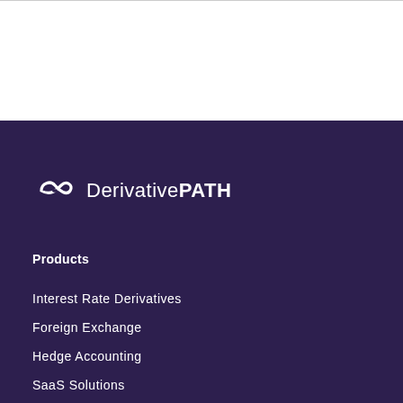[Figure (logo): DerivativePATH logo with infinity symbol and wordmark in white on dark purple background]
Products
Interest Rate Derivatives
Foreign Exchange
Hedge Accounting
SaaS Solutions